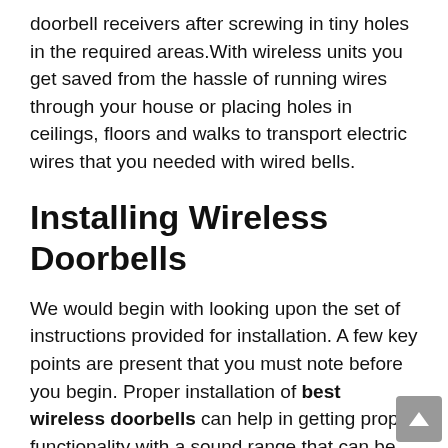doorbell receivers after screwing in tiny holes in the required areas.With wireless units you get saved from the hassle of running wires through your house or placing holes in ceilings, floors and walks to transport electric wires that you needed with wired bells.
Installing Wireless Doorbells
We would begin with looking upon the set of instructions provided for installation. A few key points are present that you must note before you begin. Proper installation of best wireless doorbells can help in getting proper functionality with a sound range that can be simply heard across the house.These instructions would likely provide a few